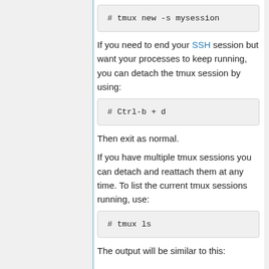# tmux new -s mysession
If you need to end your SSH session but want your processes to keep running, you can detach the tmux session by using:
# Ctrl-b + d
Then exit as normal.
If you have multiple tmux sessions you can detach and reattach them at any time. To list the current tmux sessions running, use:
# tmux ls
The output will be similar to this: